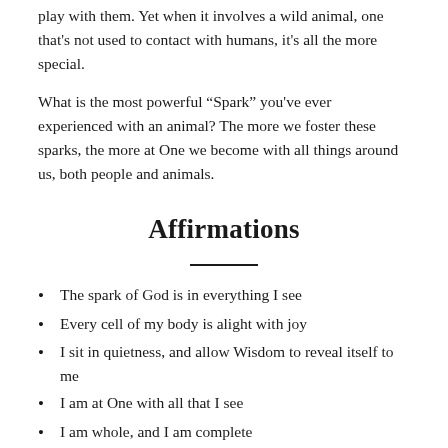play with them. Yet when it involves a wild animal, one that's not used to contact with humans, it's all the more special.
What is the most powerful “Spark” you've ever experienced with an animal? The more we foster these sparks, the more at One we become with all things around us, both people and animals.
Affirmations
The spark of God is in everything I see
Every cell of my body is alight with joy
I sit in quietness, and allow Wisdom to reveal itself to me
I am at One with all that I see
I am whole, and I am complete